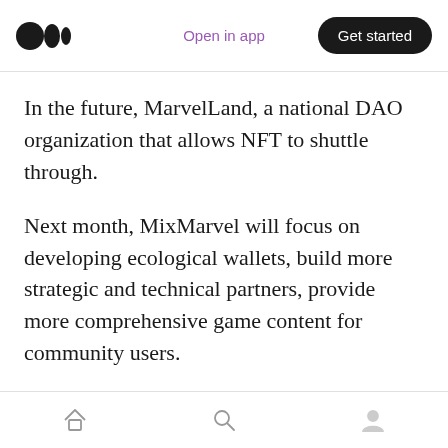Open in app | Get started
In the future, MarvelLand, a national DAO organization that allows NFT to shuttle through.
Next month, MixMarvel will focus on developing ecological wallets, build more strategic and technical partners, provide more comprehensive game content for community users.
About MixMarvel
MixMarvel is a global blockchain game publishing platform powered by blockchain that sets the best practice of blockchain mass
Home | Search | Profile